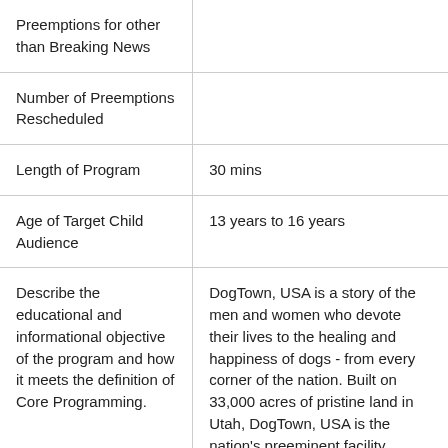| Preemptions for other than Breaking News |  |
| Number of Preemptions Rescheduled |  |
| Length of Program | 30 mins |
| Age of Target Child Audience | 13 years to 16 years |
| Describe the educational and informational objective of the program and how it meets the definition of Core Programming. | DogTown, USA is a story of the men and women who devote their lives to the healing and happiness of dogs - from every corner of the nation. Built on 33,000 acres of pristine land in Utah, DogTown, USA is the nation's preeminent facility |